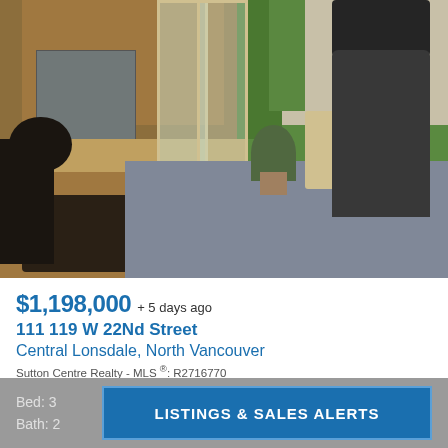[Figure (photo): Interior/exterior photo of a condo patio showing kitchen through glass sliding doors, patio tiles, outdoor grill, sculpture, and garden greenery]
$1,198,000 + 5 days ago
111 119 W 22Nd Street
Central Lonsdale, North Vancouver
Sutton Centre Realty - MLS ®: R2716770
Bed: 3
Bath: 2
LISTINGS & SALES ALERTS